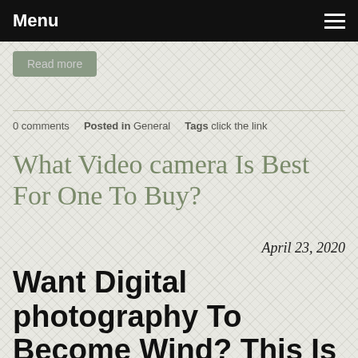Menu
[Figure (screenshot): Read more button partially visible at top of content area]
0 comments   Posted in General   Tags click the link
What Video camera Is Best For One To Buy?
April 23, 2020
Want Digital photography To Become Wind? This Is To Suit Your Needs